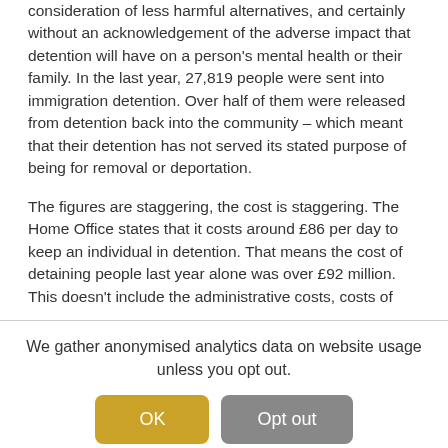consideration of less harmful alternatives, and certainly without an acknowledgement of the adverse impact that detention will have on a person's mental health or their family. In the last year, 27,819 people were sent into immigration detention. Over half of them were released from detention back into the community – which meant that their detention has not served its stated purpose of being for removal or deportation.
The figures are staggering, the cost is staggering. The Home Office states that it costs around £86 per day to keep an individual in detention. That means the cost of detaining people last year alone was over £92 million. This doesn't include the administrative costs, costs of
We gather anonymised analytics data on website usage unless you opt out.